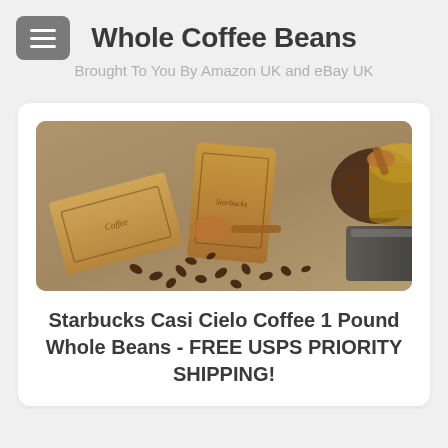[Figure (other): Hamburger menu button icon (three horizontal lines) in a gray rounded rectangle]
Whole Coffee Beans
Brought To You By Amazon UK and eBay UK
[Figure (photo): Photo of kraft paper coffee bags with spilled whole coffee beans and a manual coffee grinder with brass fittings on a stone surface]
Starbucks Casi Cielo Coffee 1 Pound Whole Beans - FREE USPS PRIORITY SHIPPING!